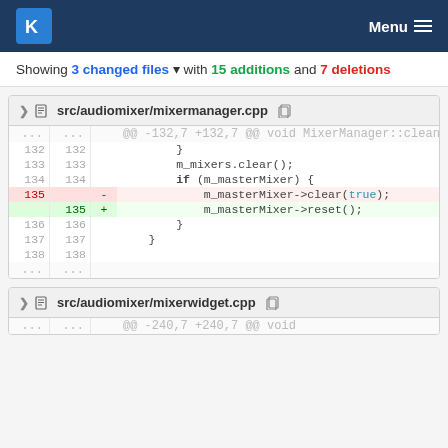KDE Menu
Showing 3 changed files with 15 additions and 7 deletions
src/audiomixer/mixermanager.cpp
| old | new | op | code |
| --- | --- | --- | --- |
| ... | ... |  | @@ -132,7 +132,7 @@ void MixerManager::cleanup() |
| 132 | 132 |  |         } |
| 133 | 133 |  |         m_mixers.clear(); |
| 134 | 134 |  |         if (m_masterMixer) { |
| 135 |  | -  |             m_masterMixer->clear(true); |
|  | 135 | +  |             m_masterMixer->reset(); |
| 136 | 136 |  |         } |
| 137 | 137 |  |     } |
| 138 | 138 |  |  |
| ... | ... |  |  |
src/audiomixer/mixerwidget.cpp
| old | new | op | code |
| --- | --- | --- | --- |
| ... | ... |  | @@ -240,7 +240,7 @@ void |